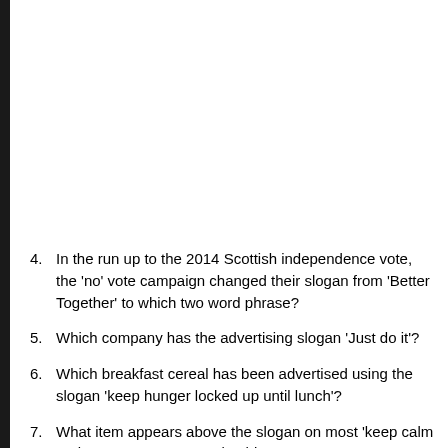4.  In the run up to the 2014 Scottish independence vote, the 'no' vote campaign changed their slogan from 'Better Together' to which two word phrase?
5.  Which company has the advertising slogan 'Just do it'?
6.  Which breakfast cereal has been advertised using the slogan 'keep hunger locked up until lunch'?
7.  What item appears above the slogan on most 'keep calm and carry on' posters and t-shirts?